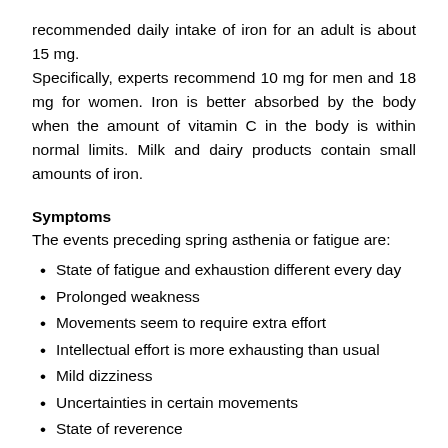recommended daily intake of iron for an adult is about 15 mg.
Specifically, experts recommend 10 mg for men and 18 mg for women. Iron is better absorbed by the body when the amount of vitamin C in the body is within normal limits. Milk and dairy products contain small amounts of iron.
Symptoms
The events preceding spring asthenia or fatigue are:
State of fatigue and exhaustion different every day
Prolonged weakness
Movements seem to require extra effort
Intellectual effort is more exhausting than usual
Mild dizziness
Uncertainties in certain movements
State of reverence
fussiness
Unexplained sadness